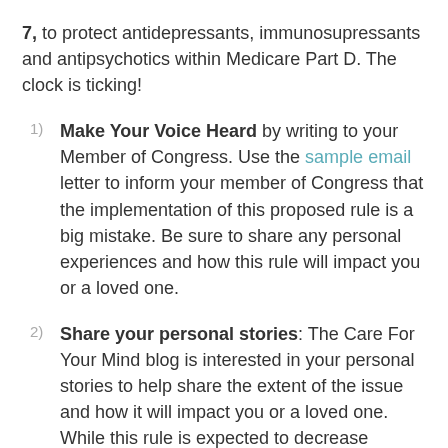7, to protect antidepressants, immunosupressants and antipsychotics within Medicare Part D. The clock is ticking!
Make Your Voice Heard by writing to your Member of Congress. Use the sample email letter to inform your member of Congress that the implementation of this proposed rule is a big mistake. Be sure to share any personal experiences and how this rule will impact you or a loved one.
Share your personal stories: The Care For Your Mind blog is interested in your personal stories to help share the extent of the issue and how it will impact you or a loved one. While this rule is expected to decrease patient costs for medications, members of the mental health community understand the treatment for our